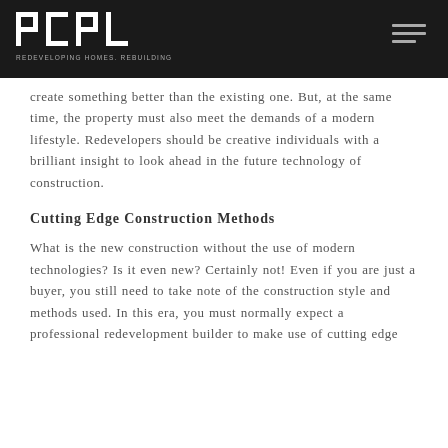PCPL — REDEVELOPING HOMES. REBUILDING COMMUNITIES.
create something better than the existing one. But, at the same time, the property must also meet the demands of a modern lifestyle. Redevelopers should be creative individuals with a brilliant insight to look ahead in the future technology of construction.
Cutting Edge Construction Methods
What is the new construction without the use of modern technologies? Is it even new? Certainly not! Even if you are just a buyer, you still need to take note of the construction style and methods used. In this era, you must normally expect a professional redevelopment builder to make use of cutting edge